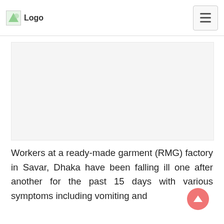Logo [navigation header with hamburger menu]
[Figure (photo): Large image placeholder area (blank/image content not visible)]
Workers at a ready-made garment (RMG) factory in Savar, Dhaka have been falling ill one after another for the past 15 days with various symptoms including vomiting and headaches. Some other symptoms reported are…